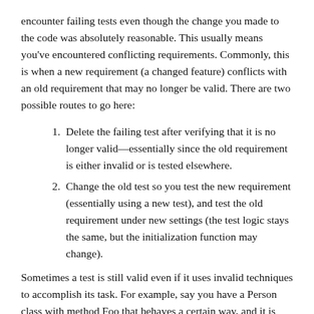encounter failing tests even though the change you made to the code was absolutely reasonable. This usually means you've encountered conflicting requirements. Commonly, this is when a new requirement (a changed feature) conflicts with an old requirement that may no longer be valid. There are two possible routes to go here:
Delete the failing test after verifying that it is no longer valid—essentially since the old requirement is either invalid or is tested elsewhere.
Change the old test so you test the new requirement (essentially using a new test), and test the old requirement under new settings (the test logic stays the same, but the initialization function may change).
Sometimes a test is still valid even if it uses invalid techniques to accomplish its task. For example, say you have a Person class with method Foo that behaves a certain way, and it is tested via Test X. Years later, another requirement...